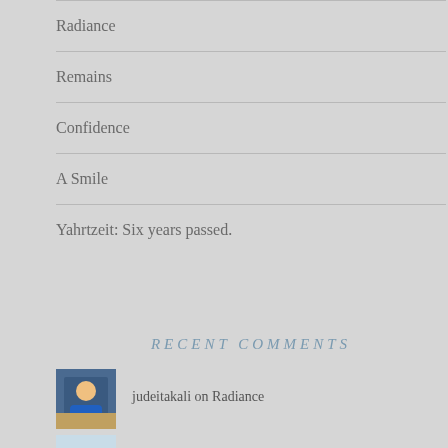Radiance
Remains
Confidence
A Smile
Yahrtzeit: Six years passed.
RECENT COMMENTS
judeitakali on Radiance
[Figure (photo): Avatar photo of judeitakali - person in blue shirt at desk]
Rachel Ann on Radiance
[Figure (photo): Avatar photo of Rachel Ann - rainbow/outdoor scene]